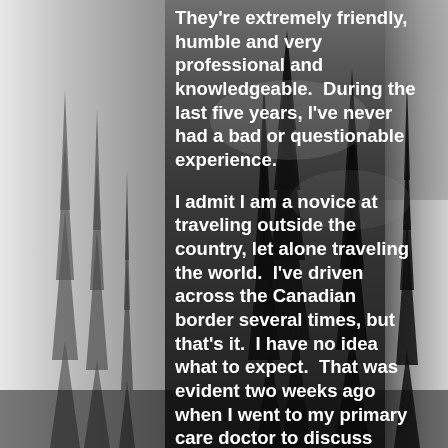[Figure (photo): Dark misty forest scene with conifer tree silhouettes against a grey sky, black and white photograph used as background]
They're extremely friendly, humble and very professional and knowledgeable.  During the last five years, I've never had a bad or questionable experience.
I admit I am a novice at traveling outside the country, let alone traveling the world.  I've driven across the Canadian border several times, but that's it.  I have no idea what to expect.  That was evident two weeks ago when I went to my primary care doctor to discuss results from my yearly physical.
As we talked, I told her I was traveling to Africa.  She asked,